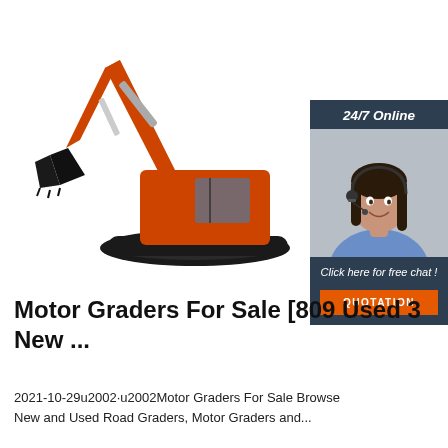[Figure (photo): Orange excavator/crawler crane on white background]
[Figure (infographic): 24/7 Online chat widget with female customer service representative wearing headset, dark navy background, 'Click here for free chat!' text, and orange 'QUOTATION' button]
Motor Graders For Sale [809 Used 3 New ...
2021-10-29u2002·u2002Motor Graders For Sale Browse New and Used Road Graders, Motor Graders and...